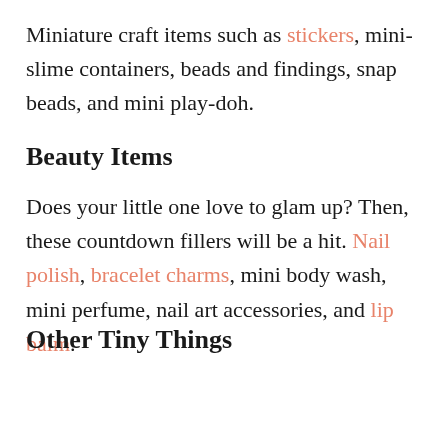Miniature craft items such as stickers, mini-slime containers, beads and findings, snap beads, and mini play-doh.
Beauty Items
Does your little one love to glam up? Then, these countdown fillers will be a hit. Nail polish, bracelet charms, mini body wash, mini perfume, nail art accessories, and lip balm.
Other Tiny Things